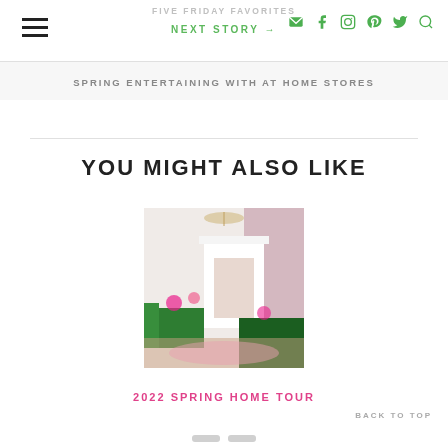FIVE FRIDAY FAVORITES
NEXT STORY →
SPRING ENTERTAINING WITH AT HOME STORES
YOU MIGHT ALSO LIKE
[Figure (photo): Interior room photo showing a colorful living room with green sofas, floral arrangements, a chandelier, and a fireplace with decorative wallpaper]
2022 SPRING HOME TOUR
BACK TO TOP